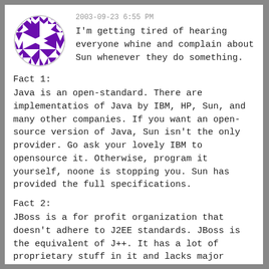[Figure (illustration): Purple and white geometric quilt-pattern avatar icon inside a circle border]
2003-09-23 6:55 PM
I'm getting tired of hearing everyone whine and complain about Sun whenever they do something.
Fact 1:
Java is an open-standard. There are implementatios of Java by IBM, HP, Sun, and many other companies. If you want an open-source version of Java, Sun isn't the only provider. Go ask your lovely IBM to opensource it. Otherwise, program it yourself, noone is stopping you. Sun has provided the full specifications.
Fact 2:
JBoss is a for profit organization that doesn't adhere to J2EE standards. JBoss is the equivalent of J++. It has a lot of proprietary stuff in it and lacks major important requirements to pass J2EE certification. First of all, I believe since they